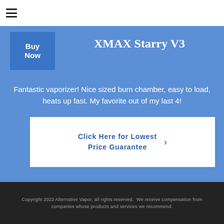≡
XMAX Starry V3
Fantastic vaporizer! Nice sized burn chamber, easy to load, heats up fast. My favorite out of my last 4!
Buy Now
Click Here for Lowest Price Guarantee
Copyright 2022 Alternative Vapor, all rights reserved.  We receive compensation from companies whose products and services we recommend.